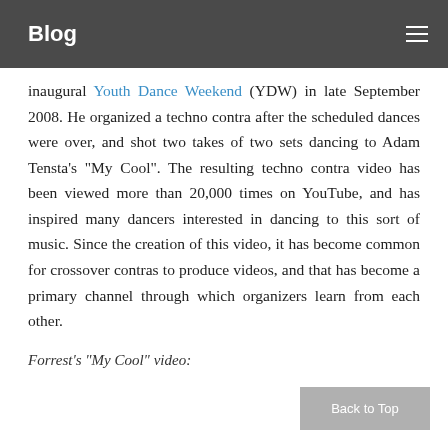Blog
inaugural Youth Dance Weekend (YDW) in late September 2008. He organized a techno contra after the scheduled dances were over, and shot two takes of two sets dancing to Adam Tensta’s “My Cool”. The resulting techno contra video has been viewed more than 20,000 times on YouTube, and has inspired many dancers interested in dancing to this sort of music. Since the creation of this video, it has become common for crossover contras to produce videos, and that has become a primary channel through which organizers learn from each other.
Forrest’s “My Cool” video: